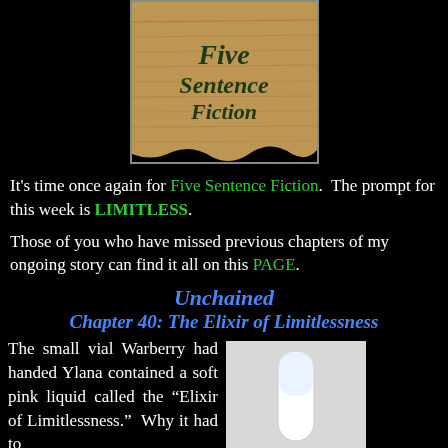[Figure (illustration): Five Sentence Fiction logo on parchment background with italic text reading 'Five Sentence Fiction']
It's time once again for Five Sentence Fiction. The prompt for this week is LIMITLESS.
Those of you who have missed previous chapters of my ongoing story can find it all on this PAGE.
Unchained
Chapter 40: The Elixir of Limitlessness
The small vial Warberry had handed Ylana contained a soft pink liquid called the “Elixir of Limitlessness.” Why it had to
[Figure (photo): A white cylindrical vial or container on a light background]